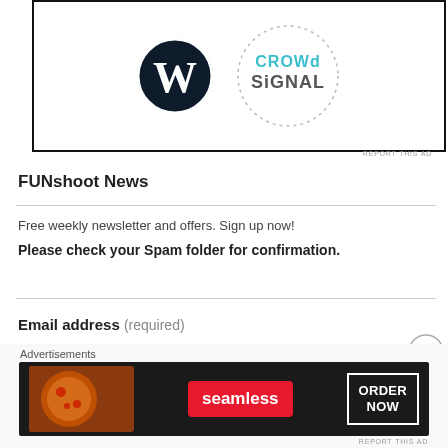[Figure (logo): WordPress + Crowdsignal advertisement banner with WordPress W logo and Crowdsignal dotted circle logo]
REPORT THIS AD
FUNshoot News
Free weekly newsletter and offers. Sign up now!
Please check your Spam folder for confirmation.
Email address (required)
[Figure (logo): Seamless food ordering advertisement banner with pizza image, Seamless red logo, and ORDER NOW button]
REPORT THIS AD
Advertisements